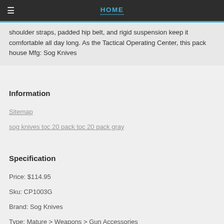HOME
shoulder straps, padded hip belt, and rigid suspension keep it comfortable all day long. As the Tactical Operating Center, this pack house Mfg: Sog Knives
Information
Sitemap
sog knives toc 20 pack toc 20 pack gray
Specification
Price: $114.95
Sku: CP1003G
Brand: Sog Knives
Type: Mature > Weapons > Gun Accessories